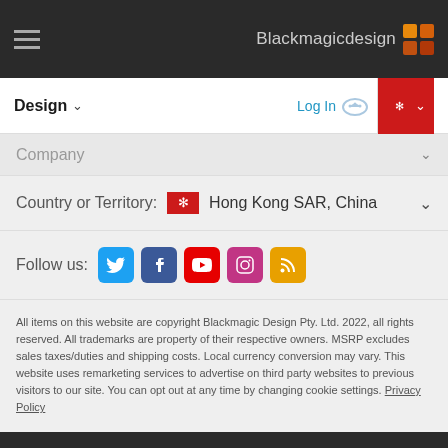Blackmagicdesign
Design ∨
Log In
Company
Country or Territory: Hong Kong SAR, China
Follow us:
All items on this website are copyright Blackmagic Design Pty. Ltd. 2022, all rights reserved. All trademarks are property of their respective owners. MSRP excludes sales taxes/duties and shipping costs. Local currency conversion may vary. This website uses remarketing services to advertise on third party websites to previous visitors to our site. You can opt out at any time by changing cookie settings. Privacy Policy
Blackmagicdesign